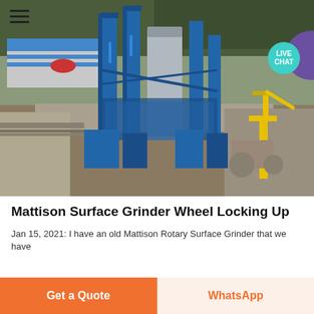[Figure (photo): Aerial/drone view of an industrial grinding/milling plant with tall blue metal towers, silos, blue-framed structures, a yellow crane on the right, factory buildings in the background, and surrounding trees and terrain. A hamburger menu icon is visible in the top-left corner and a 'LIVE CHAT' teal bubble with a purple partial circle is in the top-right corner.]
Mattison Surface Grinder Wheel Locking Up
Jan 15, 2021: I have an old Mattison Rotary Surface Grinder that we have
Get a Quote
WhatsApp